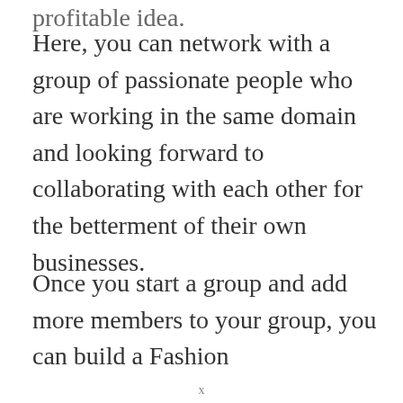profitable idea.
Here, you can network with a group of passionate people who are working in the same domain and looking forward to collaborating with each other for the betterment of their own businesses.
Once you start a group and add more members to your group, you can build a Fashion